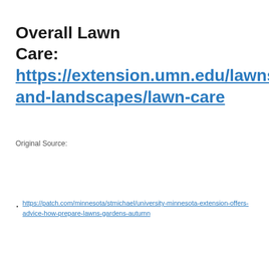Overall Lawn Care: https://extension.umn.edu/lawns-and-landscapes/lawn-care
Original Source:
https://patch.com/minnesota/stmichael/university-minnesota-extension-offers-advice-how-prepare-lawns-gardens-autumn